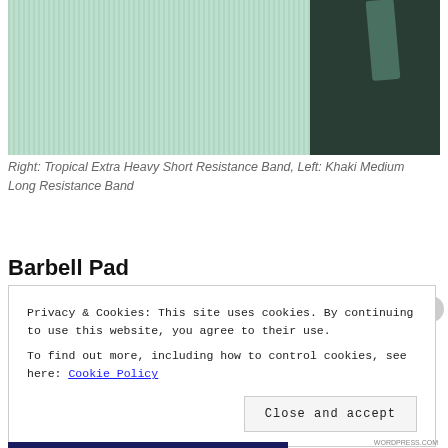[Figure (photo): Close-up photo of a mint/tropical green resistance band (mat texture) on the left and a dark green/khaki resistance band strap on a dark background on the right.]
Right: Tropical Extra Heavy Short Resistance Band, Left: Khaki Medium Long Resistance Band
Barbell Pad
Privacy & Cookies: This site uses cookies. By continuing to use this website, you agree to their use.
To find out more, including how to control cookies, see here: Cookie Policy
Close and accept